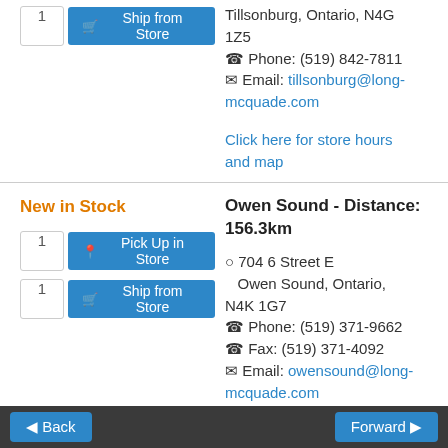Tillsonburg, Ontario, N4G 1Z5
Phone: (519) 842-7811
Email: tillsonburg@long-mcquade.com
Click here for store hours and map
New in Stock
Owen Sound - Distance: 156.3km
704 6 Street E
Owen Sound, Ontario, N4K 1G7
Phone: (519) 371-9662
Fax: (519) 371-4092
Email: owensound@long-mcquade.com
Click here for store hours and map
Back  Forward